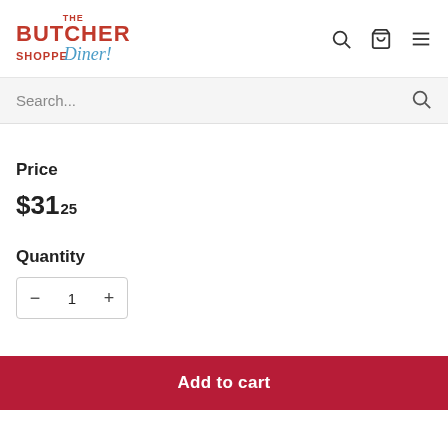The Butcher Shoppe Diner! — navigation header with logo and icons
Search...
Price
$31.25
Quantity
− 1 +
Add to cart